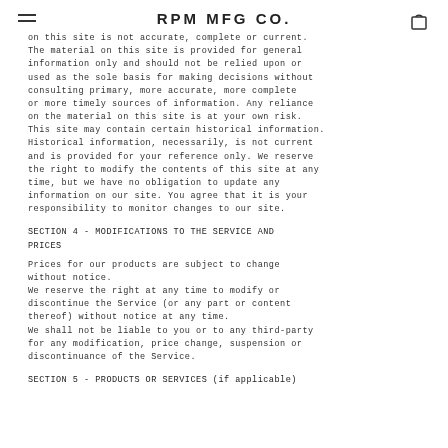RPM MFG CO.
on this site is not accurate, complete or current. The material on this site is provided for general information only and should not be relied upon or used as the sole basis for making decisions without consulting primary, more accurate, more complete or more timely sources of information. Any reliance on the material on this site is at your own risk. This site may contain certain historical information. Historical information, necessarily, is not current and is provided for your reference only. We reserve the right to modify the contents of this site at any time, but we have no obligation to update any information on our site. You agree that it is your responsibility to monitor changes to our site.
SECTION 4 - MODIFICATIONS TO THE SERVICE AND PRICES
Prices for our products are subject to change without notice.
We reserve the right at any time to modify or discontinue the Service (or any part or content thereof) without notice at any time.
We shall not be liable to you or to any third-party for any modification, price change, suspension or discontinuance of the Service.
SECTION 5 - PRODUCTS OR SERVICES (if applicable)